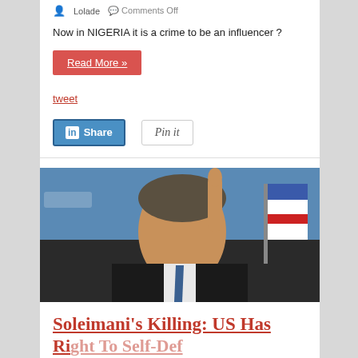Lolade   Comments Off
Now in NIGERIA it is a crime to be an influencer ?
Read More »
tweet
Share
Pin it
[Figure (photo): A man in a dark suit with a blue tie raising his index finger, speaking at a podium with a blue background and a flag.]
Soleimani's Killing: US Has Right To Self-Def...